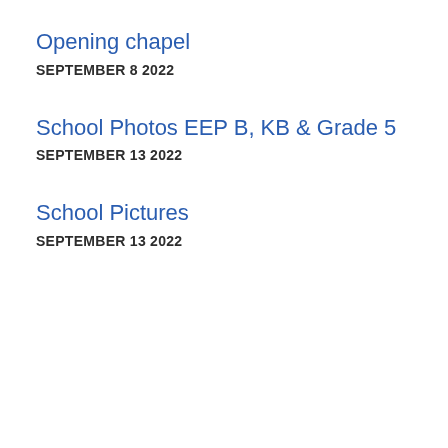Opening chapel
SEPTEMBER 8 2022
School Photos EEP B, KB & Grade 5
SEPTEMBER 13 2022
School Pictures
SEPTEMBER 13 2022